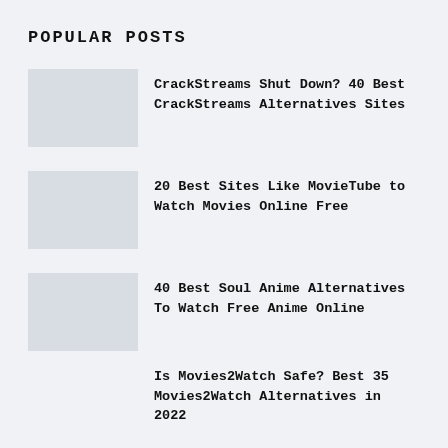POPULAR POSTS
CrackStreams Shut Down? 40 Best CrackStreams Alternatives Sites
20 Best Sites Like MovieTube to Watch Movies Online Free
40 Best Soul Anime Alternatives To Watch Free Anime Online
Is Movies2Watch Safe? Best 35 Movies2Watch Alternatives in 2022